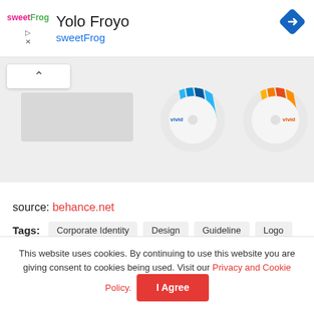[Figure (logo): sweetFrog logo — 'sweet' in pink/magenta, 'Frog' in green]
Yolo Froyo
sweetFrog
[Figure (illustration): Two CD/DVD disc illustrations with colorful striped label designs and 'vivid' branding, on a gray background]
source: behance.net
Tags: Corporate Identity  Design  Guideline  Logo  Packaging
This website uses cookies. By continuing to use this website you are giving consent to cookies being used. Visit our Privacy and Cookie Policy.